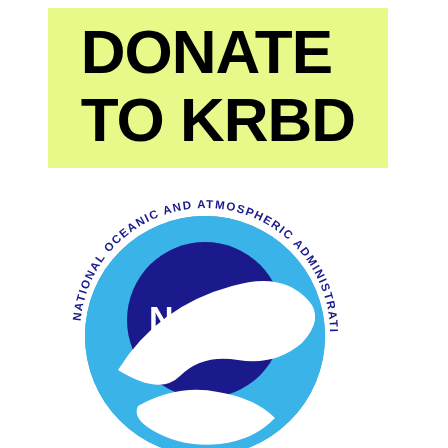DONATE TO KRBD
[Figure (logo): NOAA (National Oceanic and Atmospheric Administration) official circular logo with dark navy blue circle center bearing white NOAA text, surrounded by lighter blue swooping bird/wave shapes, with circular text reading NATIONAL OCEANIC AND ATMOSPHERIC ADMINISTRATION in navy blue on white outer ring.]